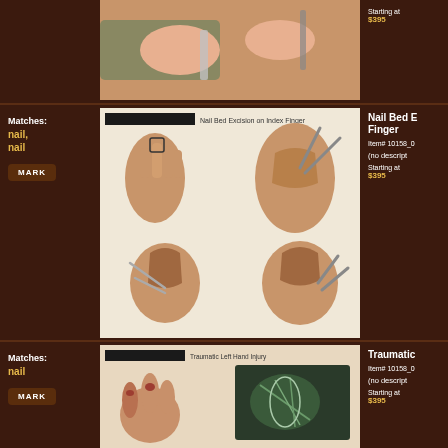[Figure (illustration): Partially visible surgical procedure illustration at top of page, showing hands performing a procedure]
Starting at $395
Matches: nail, nail
[Figure (illustration): 9/11/06 Nail Bed Excision on Index Finger medical illustration showing multiple views of finger nail bed excision procedure]
Nail Bed Excision on Index Finger
Item# 10158_0
(no description)
Starting at $395
Matches: nail
[Figure (illustration): Traumatic Left Hand Injury medical illustration showing damaged hand with multiple views]
Traumatic Left Hand Injury
Item# 10158_0
(no description)
Starting at $395